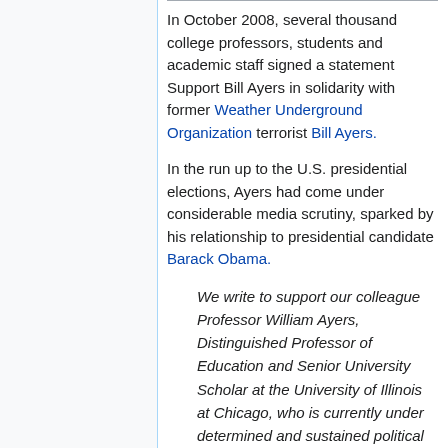In October 2008, several thousand college professors, students and academic staff signed a statement Support Bill Ayers in solidarity with former Weather Underground Organization terrorist Bill Ayers.
In the run up to the U.S. presidential elections, Ayers had come under considerable media scrutiny, sparked by his relationship to presidential candidate Barack Obama.
We write to support our colleague Professor William Ayers, Distinguished Professor of Education and Senior University Scholar at the University of Illinois at Chicago, who is currently under determined and sustained political attack... We, the undersigned, stand on the